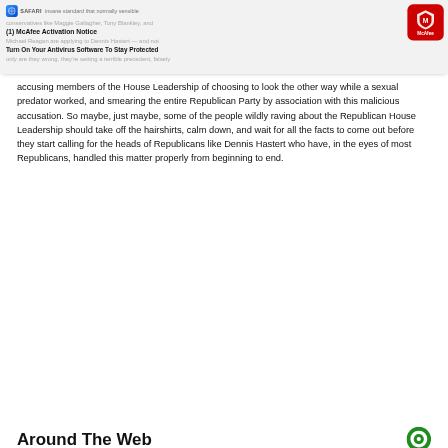[Figure (screenshot): Safari browser notification overlay showing McAfee Activation Notice with 'Turn On Your Antivirus Software To Stay Protected' message and McAfee red shield badge icon, overlaid on partially visible article text]
accusing members of the House Leadership of choosing to look the other way while a sexual predator worked, and smearing the entire Republican Party by association with this malicious accusation. So maybe, just maybe, some of the people wildly raving about the Republican House Leadership should take off the hairshirts, calm down, and wait for all the facts to come out before they start calling for the heads of Republicans like Dennis Hastert who have, in the eyes of most Republicans, handled this matter properly from beginning to end.
Around The Web
[Figure (photo): Bottom portion of page showing a casino slot machine with golden reels on the left and a person's hand/face visible in the center and right portions]